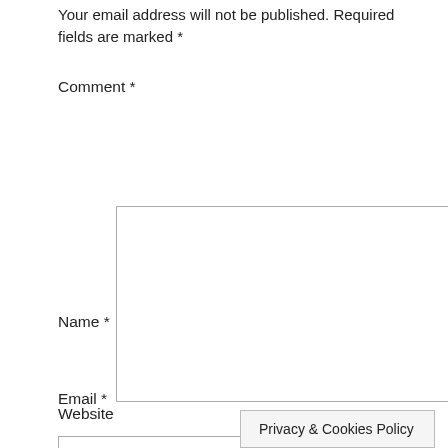Your email address will not be published. Required fields are marked *
Comment *
[Figure (screenshot): Large empty comment textarea input box with resize handle at bottom-right corner]
Name *
[Figure (screenshot): Single-line text input box for Name field]
Email *
[Figure (screenshot): Single-line text input box for Email field]
Website
Privacy & Cookies Policy